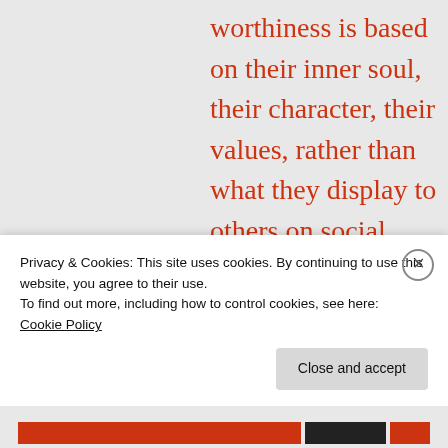worthiness is based on their inner soul, their character, their values, rather than what they display to others on social media, that would be terrific. But then she's
Privacy & Cookies: This site uses cookies. By continuing to use this website, you agree to their use.
To find out more, including how to control cookies, see here:
Cookie Policy
Close and accept